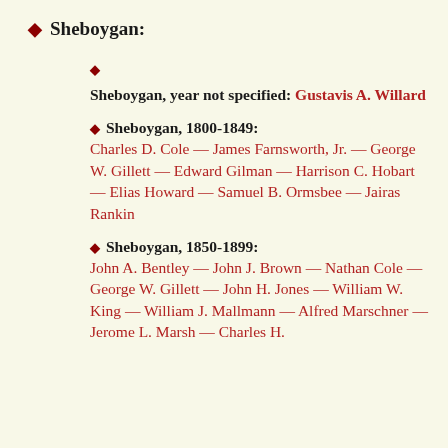Sheboygan:
Sheboygan, year not specified: Gustavis A. Willard
Sheboygan, 1800-1849: Charles D. Cole — James Farnsworth, Jr. — George W. Gillett — Edward Gilman — Harrison C. Hobart — Elias Howard — Samuel B. Ormsbee — Jairas Rankin
Sheboygan, 1850-1899: John A. Bentley — John J. Brown — Nathan Cole — George W. Gillett — John H. Jones — William W. King — William J. Mallmann — Alfred Marschner — Jerome L. Marsh — Charles H.